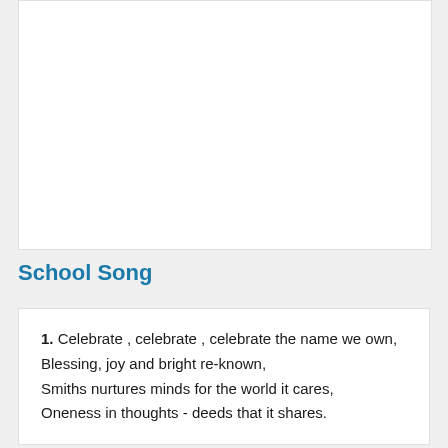[Figure (other): Blank white image area at top of page]
School Song
1. Celebrate , celebrate , celebrate the name we own,
Blessing, joy and bright re-known,
Smiths nurtures minds for the world it cares,
Oneness in thoughts - deeds that it shares.